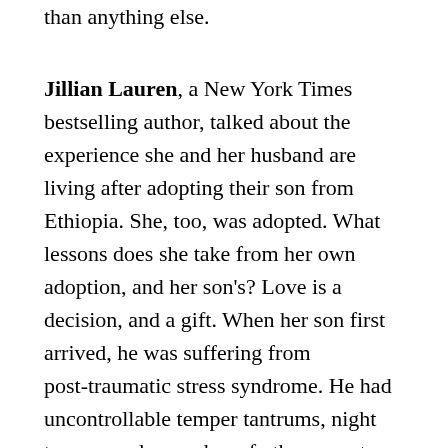than anything else.
Jillian Lauren, a New York Times bestselling author, talked about the experience she and her husband are living after adopting their son from Ethiopia. She, too, was adopted. What lessons does she take from her own adoption, and her son's? Love is a decision, and a gift. When her son first arrived, he was suffering from post-traumatic stress syndrome. He had uncontrollable temper tantrums, night terrors, and a number of other symptoms that took years to work through. Jillian told her son stories as they walked around the city when he first arrived. As he grew, he came to embrace his journey here as a great adventure. He is